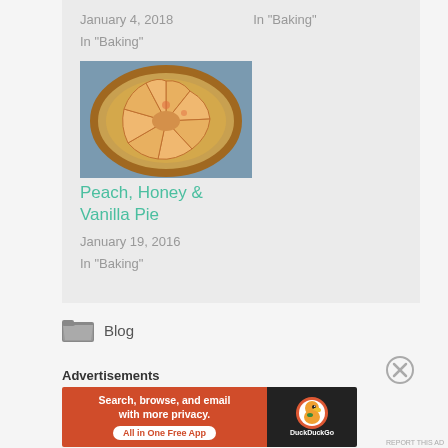January 4, 2018    In "Baking"
In "Baking"
[Figure (photo): A round peach pie viewed from above, golden brown crust with peach slices arranged in a circular pattern on a dark background]
Peach, Honey & Vanilla Pie
January 19, 2016
In "Baking"
Blog
Advertisements
[Figure (screenshot): DuckDuckGo advertisement banner: orange left section says 'Search, browse, and email with more privacy. All in One Free App', black right section shows DuckDuckGo duck logo and brand name]